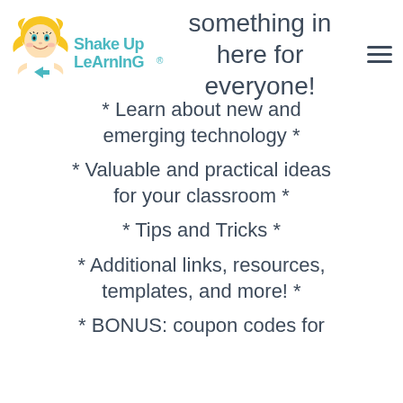Shakeup Learning® — something in here for everyone!
* Learn about new and emerging technology *
* Valuable and practical ideas for your classroom *
* Tips and Tricks *
* Additional links, resources, templates, and more! *
* BONUS: coupon codes for